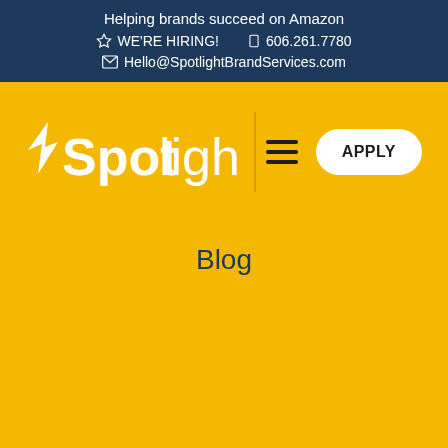Helping brands succeed on Amazon
WE'RE HIRING!   606.261.7780
Hello@SpotlightBrandServices.com
[Figure (logo): Spotlight brand logo with arrow/star icon and 'Spotlight' text in white on yellow background]
Blog